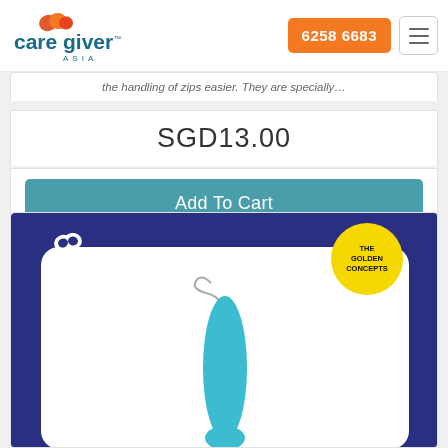[Figure (logo): CareGiver Asia logo with stylized heart shapes in orange and red above the text]
6258 6683
the handling of zips easier. They are specially…
SGD13.00
Add To Cart
[Figure (photo): Product image on dark blue card background with The Golden Concepts badge, showing a blue spoon/ladle utensil with a wire loop handle]